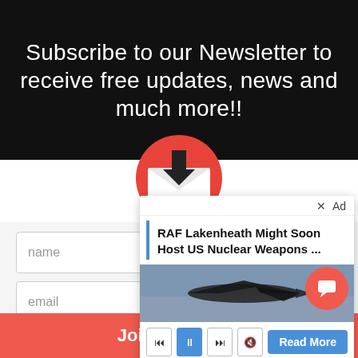Subscribe to our Newsletter to receive free updates, news and much more!!
[Figure (illustration): Red circle envelope icon with a downward arrow, representing newsletter subscription]
name
email
Accept Privacy Policy
[Figure (screenshot): Ad overlay showing: X Ad close button; headline 'RAF Lakenheath Might Soon Host US Nuclear Weapons ...'; image of a military jet aircraft; media playback controls (skip back, pause, skip forward, mute); Read More blue button; progress bar]
Join it's FREE!